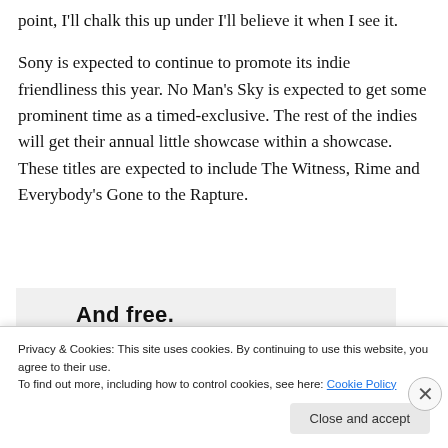point, I'll chalk this up under I'll believe it when I see it.
Sony is expected to continue to promote its indie friendliness this year. No Man's Sky is expected to get some prominent time as a timed-exclusive. The rest of the indies will get their annual little showcase within a showcase. These titles are expected to include The Witness, Rime and Everybody's Gone to the Rapture.
[Figure (screenshot): Partial screenshot of a webpage showing bold text 'And free.' and a row of circular avatar images including a blue icon avatar.]
Privacy & Cookies: This site uses cookies. By continuing to use this website, you agree to their use.
To find out more, including how to control cookies, see here: Cookie Policy
Close and accept